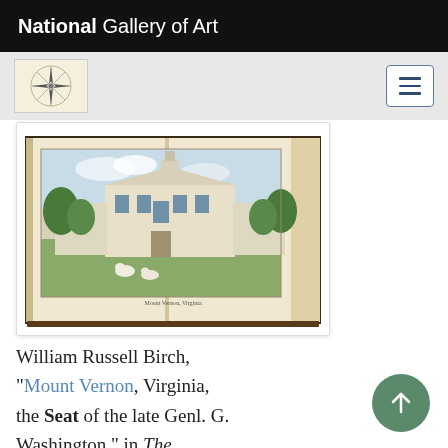National Gallery of Art
[Figure (photo): Open book showing a colored engraving of Mount Vernon estate with trees and animals on the grounds, sky above.]
William Russell Birch, "Mount Vernon, Virginia, the Seat of the late Genl. G. Washington," in The Country Seats of the United States (1808), pl. 7.